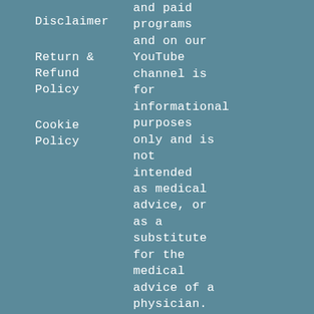Disclaimer
Return & Refund Policy
Cookie Policy
and paid programs and on our YouTube channel is for informational purposes only and is not intended as medical advice, or as a substitute for the medical advice of a physician.